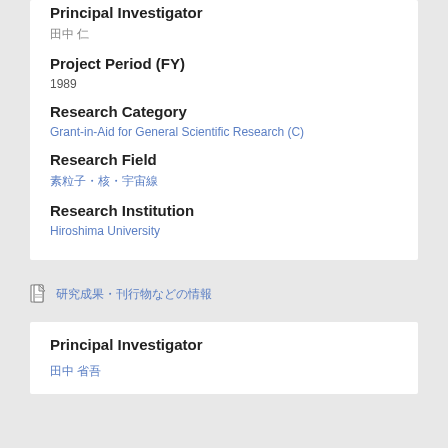Principal Investigator
田中 仁
Project Period (FY)
1989
Research Category
Grant-in-Aid for General Scientific Research (C)
Research Field
素粒子・核・宇宙線
Research Institution
Hiroshima University
研究成果・刊行物などの情報
Principal Investigator
田中 省吾